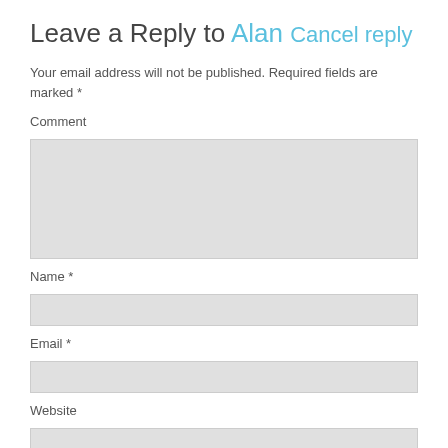Leave a Reply to Alan Cancel reply
Your email address will not be published. Required fields are marked *
Comment
[Figure (other): Comment text area input field]
Name *
[Figure (other): Name text input field]
Email *
[Figure (other): Email text input field]
Website
[Figure (other): Website text input field]